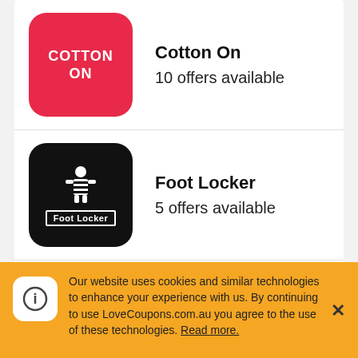Cotton On — 10 offers available
Foot Locker — 5 offers available
Step One Clothing — 25 offers available
Nike
Our website uses cookies and similar technologies to enhance your experience with us. By continuing to use LoveCoupons.com.au you agree to the use of these technologies. Read more.